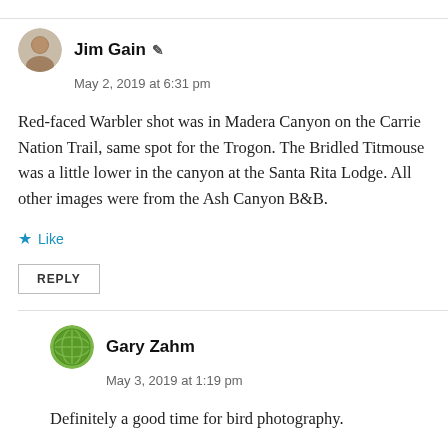Jim Gain
May 2, 2019 at 6:31 pm
Red-faced Warbler shot was in Madera Canyon on the Carrie Nation Trail, same spot for the Trogon. The Bridled Titmouse was a little lower in the canyon at the Santa Rita Lodge. All other images were from the Ash Canyon B&B.
Like
REPLY
Gary Zahm
May 3, 2019 at 1:19 pm
Definitely a good time for bird photography.